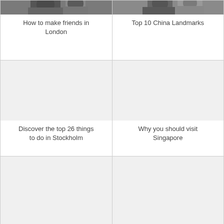[Figure (photo): Photo of people, partially cropped at top, for London article]
How to make friends in London
[Figure (photo): Photo of a person, partially cropped at top, for China Landmarks article]
Top 10 China Landmarks
[Figure (photo): Large image placeholder area for Stockholm article]
Discover the top 26 things to do in Stockholm
[Figure (photo): Large image placeholder area for Singapore article]
Why you should visit Singapore
[Figure (photo): Bottom left card image placeholder]
[Figure (photo): Bottom right card image placeholder]